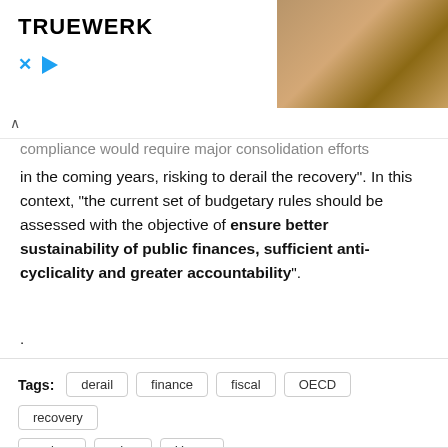[Figure (photo): Advertisement banner with TRUEWERK logo on the left and a photo of a man working outdoors on the right. Below the logo are social media icons (X and a play button).]
compliance would require major consolidation efforts in the coming years, risking to derail the recovery". In this context, “the current set of budgetary rules should be assessed with the objective of ensure better sustainability of public finances, sufficient anti-cyclicality and greater accountability".
.
Tags: derail  finance  fiscal  OECD  recovery  review  rules  Urges